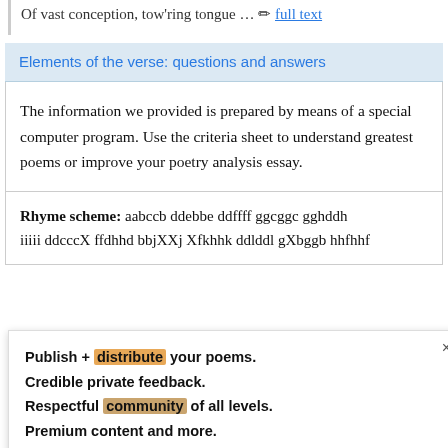Of vast conception, tow'ring tongue … ✏ full text
Elements of the verse: questions and answers
The information we provided is prepared by means of a special computer program. Use the criteria sheet to understand greatest poems or improve your poetry analysis essay.
Rhyme scheme: aabccb ddebbe ddffff ggcggc gghddh iiiii ddcccX ffdhhd bbjXXj Xfkhhk ddlddl gXbggb hhfhhf
Publish + distribute your poems.
Credible private feedback.
Respectful community of all levels.
Premium content and more.
Become a Member